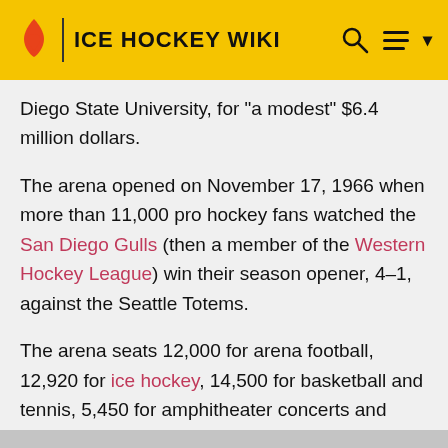ICE HOCKEY WIKI
Diego State University, for "a modest" $6.4 million dollars.
The arena opened on November 17, 1966 when more than 11,000 pro hockey fans watched the San Diego Gulls (then a member of the Western Hockey League) win their season opener, 4–1, against the Seattle Totems.
The arena seats 12,000 for arena football, 12,920 for ice hockey, 14,500 for basketball and tennis, 5,450 for amphitheater concerts and stage shows, between 8,900 and 14,800 for arena concerts, 13,000 for ice shows and the circus, and 16,100 for boxing and wrestling.